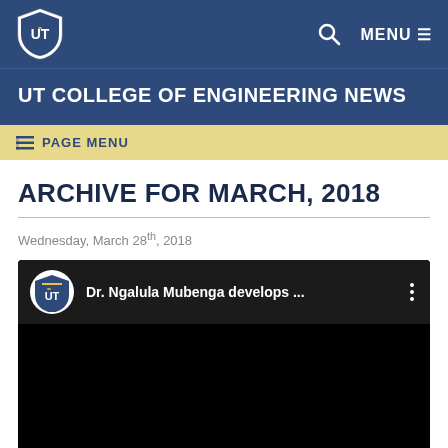UT shield logo | Search | MENU
UT COLLEGE OF ENGINEERING NEWS
PAGE MENU
ARCHIVE FOR MARCH, 2018
Wednesday, March 28th, 2018
[Figure (screenshot): YouTube-style video embed with UT shield logo and title 'Dr. Ngalula Mubenga develops ...' on a dark background with three-dot menu icon]